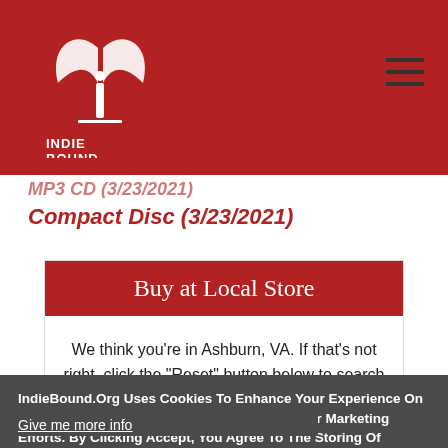[Figure (logo): IndieBound logo — white stylized book/wings graphic with INDIEBOUND text on dark red header background]
MP3 CD (3/23/2021)
Compact Disc (3/23/2021)
Buy at Local Store
We think you're in Ashburn, VA. If that's not right, click the "Reset" button below to search by ZIP.
IndieBound.Org Uses Cookies To Enhance Your Experience On Our Site, Analyze Site Usage, And Assist In Our Marketing Efforts. By Clicking Accept, You Agree To The Storing Of Cookies On Your Device. View Our Cookie Policy.
Give me more info